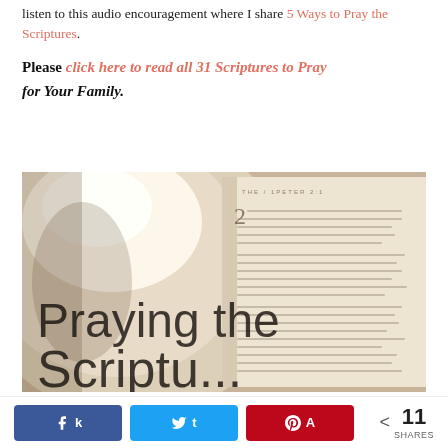listen to this audio encouragement where I share 5 Ways to Pray the Scriptures.
Please click here to read all 31 Scriptures to Pray for Your Family.
[Figure (photo): Photo of an open Bible next to a white ceramic cup/bowl, with overlaid text 'Praying the Scriptures' in a thin sans-serif font. The image has warm sepia tones.]
< 11 SHARES